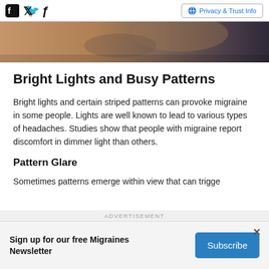Facebook Twitter Privacy & Trust Info
[Figure (photo): Cropped photo strip showing a person, warm tones, brown and dark background]
Bright Lights and Busy Patterns
Bright lights and certain striped patterns can provoke migraine in some people. Lights are well known to lead to various types of headaches. Studies show that people with migraine report discomfort in dimmer light than others.
Pattern Glare
Sometimes patterns emerge within view that can trigge
ADVERTISEMENT
Sign up for our free Migraines Newsletter